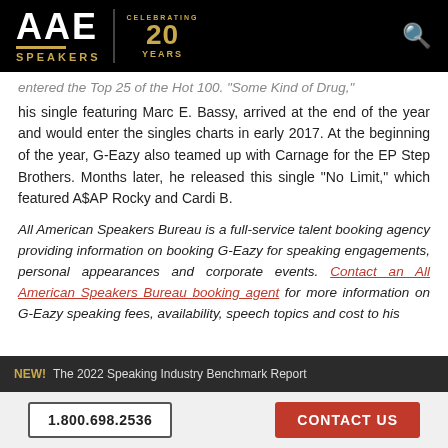AAE SPEAKERS — Celebrating 20 Years
entered the Top 25 of the Hot 100. "Some Kind of Drug," his single featuring Marc E. Bassy, arrived at the end of the year and would enter the singles charts in early 2017. At the beginning of the year, G-Eazy also teamed up with Carnage for the EP Step Brothers. Months later, he released this single "No Limit," which featured A$AP Rocky and Cardi B.
All American Speakers Bureau is a full-service talent booking agency providing information on booking G-Eazy for speaking engagements, personal appearances and corporate events. Contact an All American Speakers Bureau booking agent for more information on G-Eazy speaking fees, availability, speech topics and cost to hire...
NEW! The 2022 Speaking Industry Benchmark Report
1.800.698.2536   CONTACT US